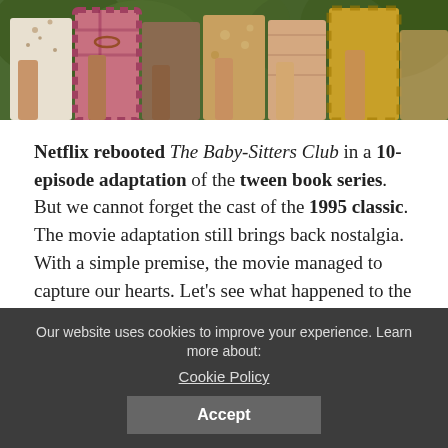[Figure (photo): Partial photo of a group of women/girls standing together outdoors with green foliage in background, showing their torsos and colorful patterned clothing]
Netflix rebooted The Baby-Sitters Club in a 10-episode adaptation of the tween book series. But we cannot forget the cast of the 1995 classic. The movie adaptation still brings back nostalgia. With a simple premise, the movie managed to capture our hearts. Let's see what happened to the cast of The Baby-Sitters Club?
Our website uses cookies to improve your experience. Learn more about: Cookie Policy Accept